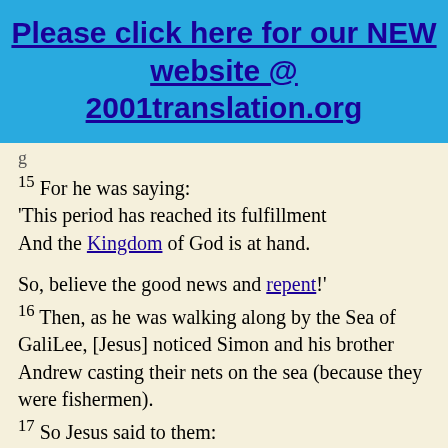Please click here for our NEW website @ 2001translation.org
15 For he was saying: 'This period has reached its fulfillment And the Kingdom of God is at hand.

So, believe the good news and repent!'
16 Then, as he was walking along by the Sea of GaliLee, [Jesus] noticed Simon and his brother Andrew casting their nets on the sea (because they were fishermen).
17 So Jesus said to them: 'Come follow me and I'll make you fishers of men.'
18 And right away, they released their nets and started following him.